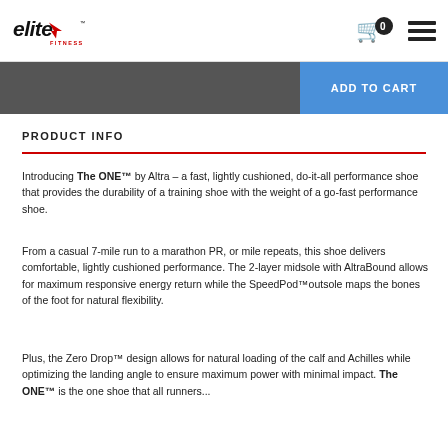elite FITNESS — header with cart icon and menu
ADD TO CART
PRODUCT INFO
Introducing The ONE™ by Altra – a fast, lightly cushioned, do-it-all performance shoe that provides the durability of a training shoe with the weight of a go-fast performance shoe.
From a casual 7-mile run to a marathon PR, or mile repeats, this shoe delivers comfortable, lightly cushioned performance. The 2-layer midsole with AltraBound allows for maximum responsive energy return while the SpeedPod™outsole maps the bones of the foot for natural flexibility.
Plus, the Zero Drop™ design allows for natural loading of the calf and Achilles while optimizing the landing angle to ensure maximum power with minimal impact. The ONE™ is the one shoe that all runners...